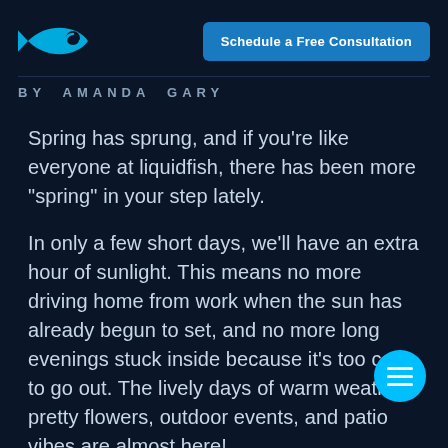liquidfish logo | Schedule a Free Consultation
BY AMANDA GARY
Spring has sprung, and if you're like everyone at liquidfish, there has been more “spring” in your step lately.
In only a few short days, we’ll have an extra hour of sunlight. This means no more driving home from work when the sun has already begun to set, and no more long evenings stuck inside because it’s too cold to go out. The lively days of warm weather, pretty flowers, outdoor events, and patio vibes are almost here!
The rest of March’s temperatures will fall between the high 60s and upper 70s. What better